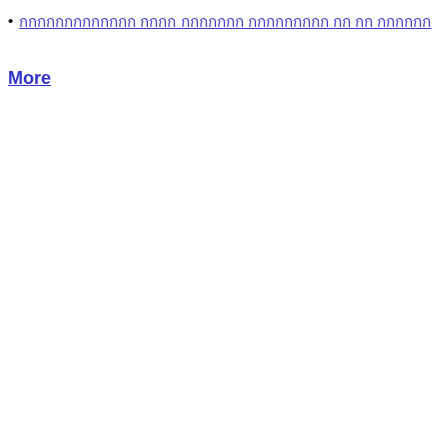กกกกกกกกกกกกก กกกก กกกกกกก กกกกกกกกก กก กก กกกกกก
More